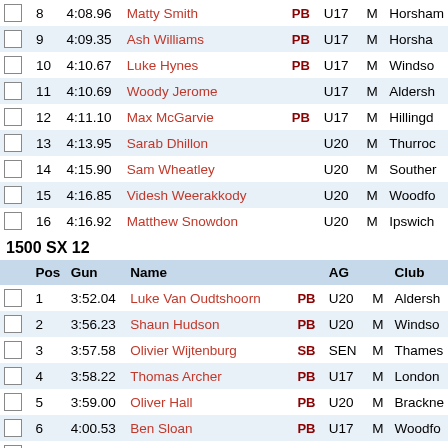|  | Pos | Gun | Name |  | AG |  | Club |
| --- | --- | --- | --- | --- | --- | --- | --- |
|  | 8 | 4:08.96 | Matty Smith | PB | U17 | M | Horsham |
|  | 9 | 4:09.35 | Ash Williams | PB | U17 | M | Horsham |
|  | 10 | 4:10.67 | Luke Hynes | PB | U17 | M | Windsor |
|  | 11 | 4:10.69 | Woody Jerome |  | U17 | M | Aldersh |
|  | 12 | 4:11.10 | Max McGarvie | PB | U17 | M | Hillingd |
|  | 13 | 4:13.95 | Sarab Dhillon |  | U20 | M | Thurroc |
|  | 14 | 4:15.90 | Sam Wheatley |  | U20 | M | Souther |
|  | 15 | 4:16.85 | Videsh Weerakkody |  | U20 | M | Woodfo |
|  | 16 | 4:16.92 | Matthew Snowdon |  | U20 | M | Ipswich |
1500 SX 12
|  | Pos | Gun | Name |  | AG |  | Club |
| --- | --- | --- | --- | --- | --- | --- | --- |
|  | 1 | 3:52.04 | Luke Van Oudtshoorn | PB | U20 | M | Aldersh |
|  | 2 | 3:56.23 | Shaun Hudson | PB | U20 | M | Windsor |
|  | 3 | 3:57.58 | Olivier Wijtenburg | SB | SEN | M | Thames |
|  | 4 | 3:58.22 | Thomas Archer | PB | U17 | M | London |
|  | 5 | 3:59.00 | Oliver Hall | PB | U20 | M | Brackne |
|  | 6 | 4:00.53 | Ben Sloan | PB | U17 | M | Woodfo |
|  | 7 | 4:01.54 | Alex Bruce-Littlewood | SB | SEN | M | Blackhe |
|  | 8 | 4:02.69 | Russell Mountford | SB | SEN | M | Kilbarch |
|  | 9 | 4:03.88 | Kieran Gilfedder |  | SEN | M | Wycom |